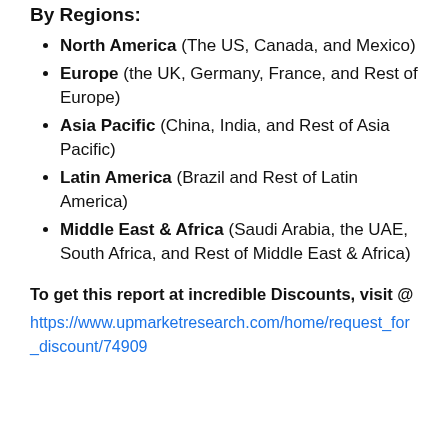By Regions:
North America (The US, Canada, and Mexico)
Europe (the UK, Germany, France, and Rest of Europe)
Asia Pacific (China, India, and Rest of Asia Pacific)
Latin America (Brazil and Rest of Latin America)
Middle East & Africa (Saudi Arabia, the UAE, South Africa, and Rest of Middle East & Africa)
To get this report at incredible Discounts, visit @
https://www.upmarketresearch.com/home/request_for_discount/74909